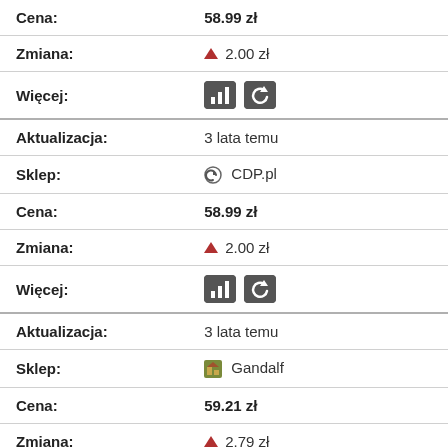| Cena: | 58.99 zł |
| Zmiana: | ▲ 2.00 zł |
| Więcej: | [buttons] |
| Aktualizacja: | 3 lata temu |
| Sklep: | CDP.pl |
| Cena: | 58.99 zł |
| Zmiana: | ▲ 2.00 zł |
| Więcej: | [buttons] |
| Aktualizacja: | 3 lata temu |
| Sklep: | Gandalf |
| Cena: | 59.21 zł |
| Zmiana: | ▲ 2.79 zł |
| Więcej: | [buttons] |
Ostatnia najniższa odnotowana cena: 14.99 zł dnia: